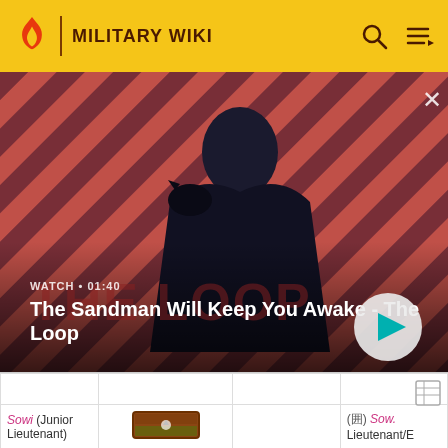MILITARY WIKI
[Figure (screenshot): Video banner showing a dark figure in a cape with a raven, on a red and dark striped background, for 'The Sandman Will Keep You Awake - The Loop' video, 01:40 duration, with a play button on the right and a close button top right.]
WATCH • 01:40
The Sandman Will Keep You Awake - The Loop
|  |  |  |  |
| Sowi (Junior Lieutenant) | [rank badge image] | (囲) Sow. Lieutenant/E |